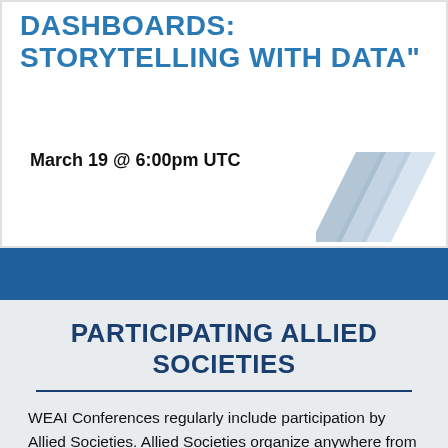DASHBOARDS: STORYTELLING WITH DATA"
March 19 @ 6:00pm UTC
[Figure (logo): Decorative angular chevron logo in light blue/grey tones]
PARTICIPATING ALLIED SOCIETIES
WEAI Conferences regularly include participation by Allied Societies. Allied Societies organize anywhere from just a few sessions to